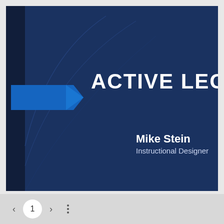[Figure (other): Presentation slide title page with dark blue background, left vertical accent strip, blue arrow/chevron shape, and decorative curved lines. Title reads 'ACTIVE LEC' (partially visible, remainder cut off). Author 'Mike Stein, Instructional Designer' shown in lower right.]
ACTIVE LEC
Mike Stein
Instructional Designer
1